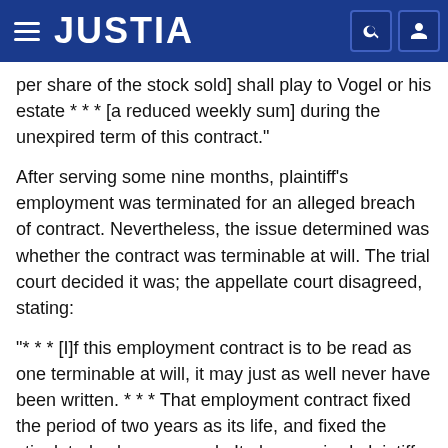JUSTIA
per share of the stock sold] shall play to Vogel or his estate * * * [a reduced weekly sum] during the unexpired term of this contract."
After serving some nine months, plaintiff's employment was terminated for an alleged breach of contract. Nevertheless, the issue determined was whether the contract was terminable at will. The trial court decided it was; the appellate court disagreed, stating:
"* * * [I]f this employment contract is to be read as one terminable at will, it may just as well never have been written. * * * That employment contract fixed the period of two years as its life, and fixed the stipulated salary per week. It also required plaintiff not to engage in or participate in any business excepting on behalf of the defendant. It then provided for two things that would